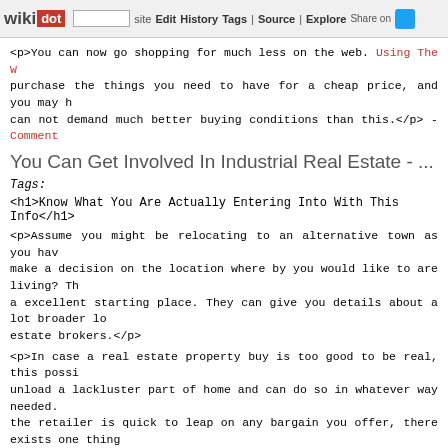wikidot | site | Edit | History | Tags | Source | Explore | Share on [twitter]
<p>You can now go shopping for much less on the web. Using The W... purchase the things you need to have for a cheap price, and you may h... can not demand much better buying conditions than this.</p> - Comment...
You Can Get Involved In Industrial Real Estate - ...
Tags:
<h1>Know What You Are Actually Entering Into With This Info</h1>
<p>Assume you might be relocating to an alternative town as you hav... make a decision on the location where by you would like to are living? Th... a excellent starting place. They can give you details about a lot broader l... estate brokers.</p>
<p>In case a real estate property buy is too good to be real, this possi... unload a lackluster part of home and can do so in whatever way needed.... the retailer is quick to leap on any bargain you offer, there exists one thing...
<p>Should you be looking to get a residence, you should find a capab... sizing, possessing somebody who can direct you with the murky seas... knowledgeable about how product sales happen to be trending in the con... to get a house you are interested in.</p>
<p>When buying real estate for you to do some study concerning the... considering any residences. Engage with your professional regarding w... use of that to put some limitations that you simply will not talk about... emotionally you simply will not get maintained apart into paying out more...